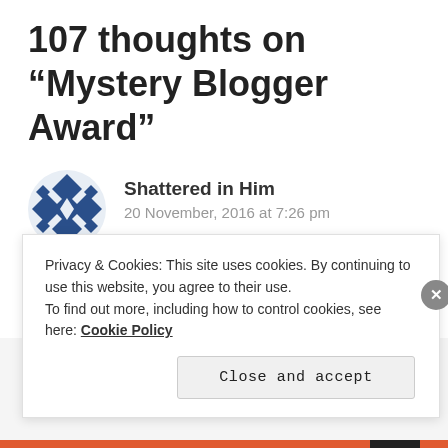107 thoughts on “Mystery Blogger Award”
[Figure (illustration): Blue and white decorative snowflake/geometric pattern avatar icon for user Shattered in Him]
Shattered in Him
20 November, 2016 at 7:26 pm
This was fun!!
★ Liked by 2 people
Privacy & Cookies: This site uses cookies. By continuing to use this website, you agree to their use.
To find out more, including how to control cookies, see here: Cookie Policy
Close and accept